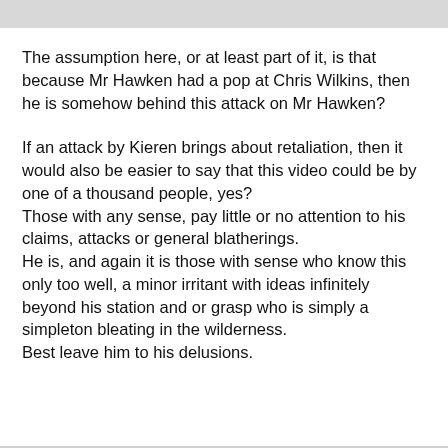The assumption here, or at least part of it, is that because Mr Hawken had a pop at Chris Wilkins, then he is somehow behind this attack on Mr Hawken?
If an attack by Kieren brings about retaliation, then it would also be easier to say that this video could be by one of a thousand people, yes?
Those with any sense, pay little or no attention to his claims, attacks or general blatherings.
He is, and again it is those with sense who know this only too well, a minor irritant with ideas infinitely beyond his station and or grasp who is simply a simpleton bleating in the wilderness.
Best leave him to his delusions.